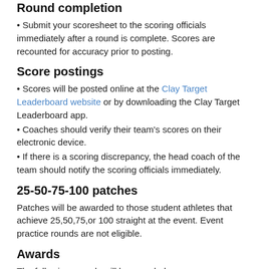Round completion
Submit your scoresheet to the scoring officials immediately after a round is complete. Scores are recounted for accuracy prior to posting.
Score postings
Scores will be posted online at the Clay Target Leaderboard website or by downloading the Clay Target Leaderboard app.
Coaches should verify their team's scores on their electronic device.
If there is a scoring discrepancy, the head coach of the team should notify the scoring officials immediately.
25-50-75-100 patches
Patches will be awarded to those student athletes that achieve 25,50,75,or 100 straight at the event. Event practice rounds are not eligible.
Awards
The following awards will be awarded:
1st Place Team
Novice, JV and Varsity high gun male and female: 1st – 3rd